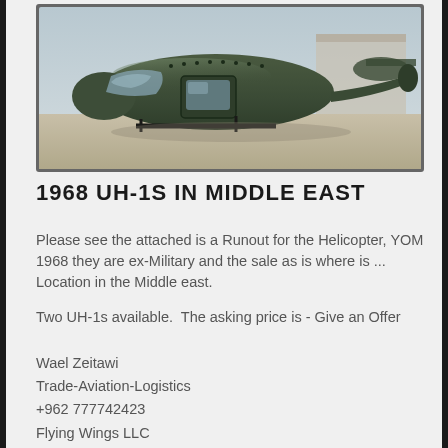[Figure (photo): A military olive-green UH-1 Huey helicopter photographed outdoors on a concrete surface, viewed from the front-left side. Another helicopter is partially visible in the background.]
1968 UH-1S IN MIDDLE EAST
Please see the attached is a Runout for the Helicopter, YOM 1968 they are ex-Military and the sale as is where is ... Location in the Middle east.
Two UH-1s available.  The asking price is - Give an Offer
Wael Zeitawi
Trade-Aviation-Logistics
+962 777742423
Flying Wings LLC
www.flying-wings.net